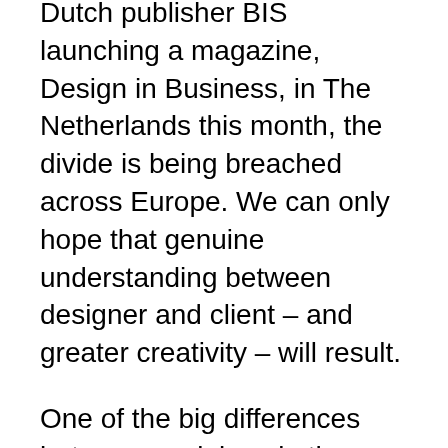Dutch publisher BIS launching a magazine, Design in Business, in The Netherlands this month, the divide is being breached across Europe. We can only hope that genuine understanding between designer and client – and greater creativity – will result.
One of the big differences between sociology in the Sixties and new design management studies is the tight resources colleges now have. Each course has to be structured to build on a college's strengths and projected job opportunities. Staffordshire University's planned BA course, for example, will be run jointly by its design and business schools; in other colleges only one school is host. This variety is good. The best design comes from client/designer partnerships and if design's role is to accentuate a company's